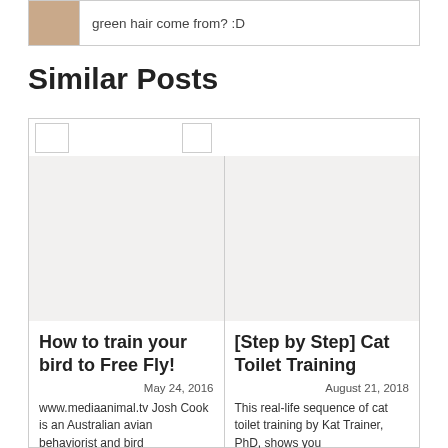[Figure (screenshot): Top bar with a thumbnail image and text 'green hair come from? :D']
Similar Posts
[Figure (screenshot): Navigation bar with two thumbnail placeholders]
[Figure (photo): Empty image placeholder for 'How to train your bird to Free Fly!' post]
How to train your bird to Free Fly!
May 24, 2016
www.mediaanimal.tv Josh Cook is an Australian avian behaviorist and bird
[Figure (photo): Empty image placeholder for '[Step by Step] Cat Toilet Training' post]
[Step by Step] Cat Toilet Training
August 21, 2018
This real-life sequence of cat toilet training by Kat Trainer, PhD, shows you